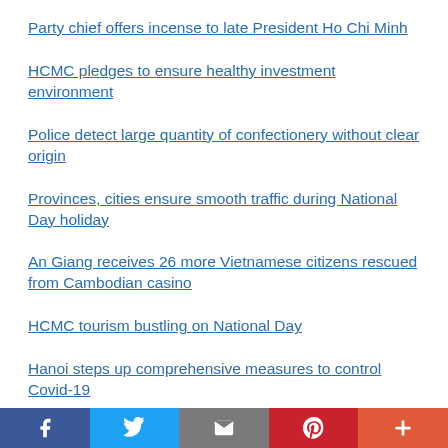Party chief offers incense to late President Ho Chi Minh
HCMC pledges to ensure healthy investment environment
Police detect large quantity of confectionery without clear origin
Provinces, cities ensure smooth traffic during National Day holiday
An Giang receives 26 more Vietnamese citizens rescued from Cambodian casino
HCMC tourism bustling on National Day
Hanoi steps up comprehensive measures to control Covid-19
People-to-people diplomacy key part of Vietnam-…